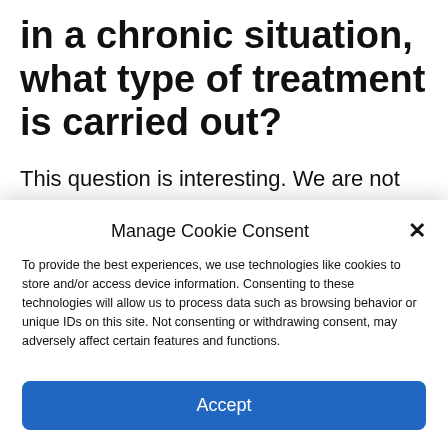in a chronic situation, what type of treatment is carried out?
This question is interesting. We are not talking about an illegal drug. We are not talking about chemical dependency or drug addiction. In today's context, we are talking
Manage Cookie Consent
To provide the best experiences, we use technologies like cookies to store and/or access device information. Consenting to these technologies will allow us to process data such as browsing behavior or unique IDs on this site. Not consenting or withdrawing consent, may adversely affect certain features and functions.
Accept